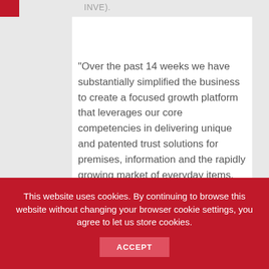INVE).
“Over the past 14 weeks we have substantially simplified the business to create a focused growth platform that leverages our core competencies in delivering unique and patented trust solutions for premises, information and the rapidly growing market of everyday items. The key here is identities moving from analog to digital for billions of connected everyday items. Identiv intends to be at the heart of this revolution,” said Jason Hart, CEO of Identiv. “To support and guide this vision I am extremely pleased to welcome Gary to our board. He is an iconic Silicon Valley technology pioneer who has identified and invested in important technology…
This website uses cookies. By continuing to browse this website without changing your browser cookie settings, you agree to let us store cookies.